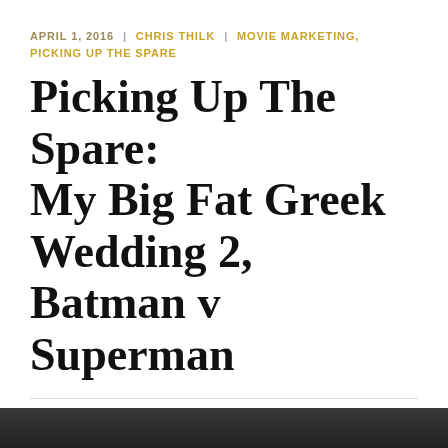APRIL 1, 2016 | CHRIS THILK | MOVIE MARKETING, PICKING UP THE SPARE
Picking Up The Spare: My Big Fat Greek Wedding 2, Batman v Superman
Privacy & Cookies: This site uses cookies. By continuing to use this website, you agree to their use. To find out more, including how to control cookies, see here: Cookie Policy
Close and accept
[Figure (photo): Dark photograph partially visible at bottom of page]